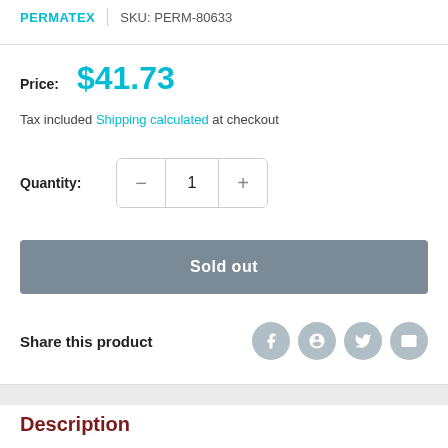PERMATEX | SKU: PERM-80633
Price: $41.73
Tax included Shipping calculated at checkout
Quantity: 1
Sold out
Share this product
Description